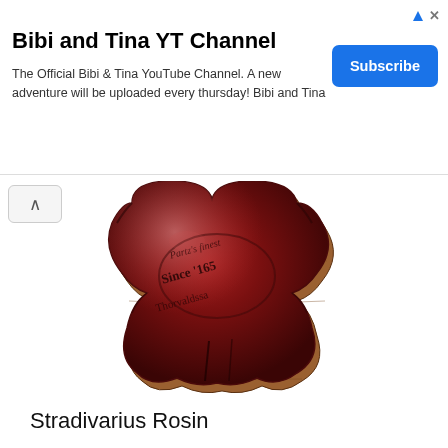Bibi and Tina YT Channel
The Official Bibi & Tina YouTube Channel. A new adventure will be uploaded every thursday! Bibi and Tina
[Figure (photo): A block of dark reddish-brown Stradivarius rosin in a violin/fiddle shape, with text branded into the surface reading 'Partz's Finest Since 165... Thorvaldssa...']
Stradivarius Rosin